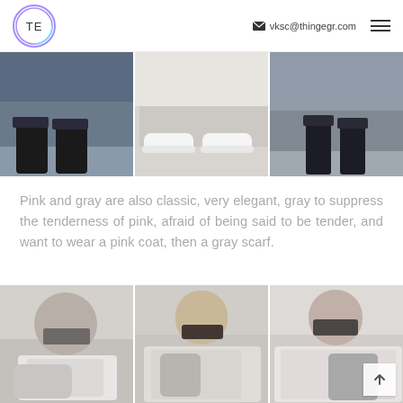TE | vksc@thingegr.com
[Figure (photo): Three street-style photos showing footwear: left panel shows dark ankle boots with jeans, center panel shows white sneakers with a grey skirt, right panel shows dark boots with grey trousers.]
Pink and gray are also classic, very elegant, gray to suppress the tenderness of pink, afraid of being said to be tender, and want to wear a pink coat, then a gray scarf.
[Figure (photo): Three street-style photos of women wearing pink and gray outfits with scarves: left panel shows a woman with sunglasses wearing white blouse and light gray scarf, center panel shows a blonde woman with large sunglasses wearing a beige coat and gray scarf, right panel shows a woman wearing glasses with a pink coat and gray scarf.]